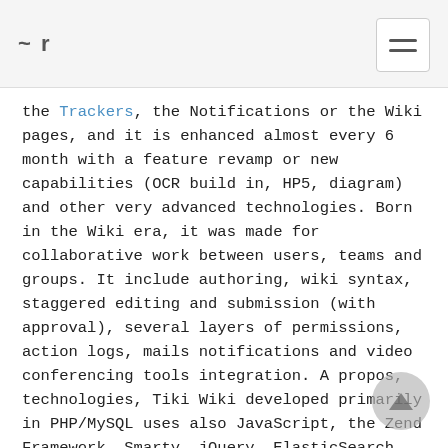~ r
the Trackers, the Notifications or the Wiki pages, and it is enhanced almost every 6 month with a feature revamp or new capabilities (OCR build in, HP5, diagram) and other very advanced technologies. Born in the Wiki era, it was made for collaborative work between users, teams and groups. It include authoring, wiki syntax, staggered editing and submission (with approval), several layers of permissions, action logs, mails notifications and video conferencing tools integration. A propos, technologies, Tiki Wiki developed primarily in PHP/MySQL uses also JavaScript, the Zend Framework, Smarty, jQuery, ElasticSearch, StreetMap, etc. Tiki Wiki is part of the most comprehensive and integrated Open Source enterprise software suite, WikiSuite.